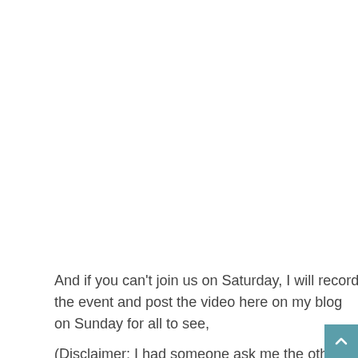And if you can't join us on Saturday, I will record the event and post the video here on my blog on Sunday for all to see,
(Disclaimer: I had someone ask me the other day if I was